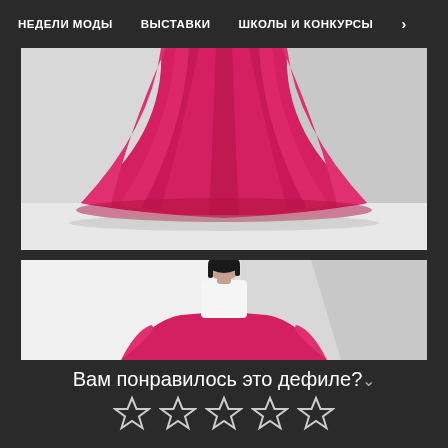НЕДЕЛИ МОДЫ   ВЫСТАВКИ   ШКОЛЫ И КОНКУРСЫ  >
[Figure (photo): Close-up photo of lower half of a vibrant pink/fuchsia full pleated skirt on white background]
[Figure (photo): Photo of a model with dark hair, white blouse, wearing the large pink skirt, shown from below waist up, white studio background]
Вам понравилось это дефиле?
[Figure (other): Five empty/outline star rating icons]